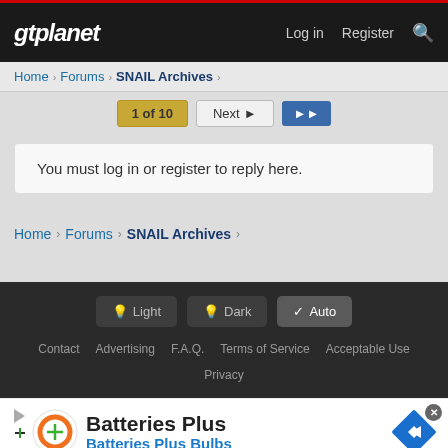gtplanet | Log in | Register
Home › Forums › SNAIL Archives ›
1 of 10 | Next ► | ►►
You must log in or register to reply here.
Home › Forums › SNAIL Archives ›
Light | Dark | ✓ Auto
Contact   Advertising   F.A.Q.   Terms of Service   Acceptable Use   Privacy
[Figure (screenshot): Ad banner for Batteries Plus Bulbs with orange logo, close button, and blue diamond direction icon]